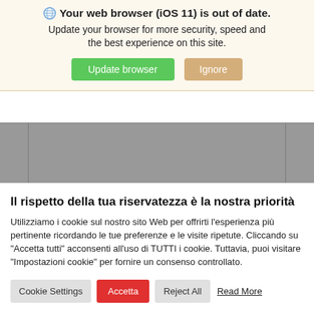[Figure (screenshot): Browser update banner with globe icon, bold title 'Your web browser (iOS 11) is out of date.', subtitle text, and two buttons: 'Update browser' (green) and 'Ignore' (tan/gold).]
CANDELINE STELO ROSA
Il rispetto della tua riservatezza è la nostra priorità
Utilizziamo i cookie sul nostro sito Web per offrirti l'esperienza più pertinente ricordando le tue preferenze e le visite ripetute. Cliccando su "Accetta tutti" acconsenti all'uso di TUTTI i cookie. Tuttavia, puoi visitare "Impostazioni cookie" per fornire un consenso controllato.
[Figure (screenshot): Cookie consent modal with buttons: 'Cookie Settings' (gray), 'Accetta' (red), 'Reject All' (gray), 'Read More' (underlined text link)]